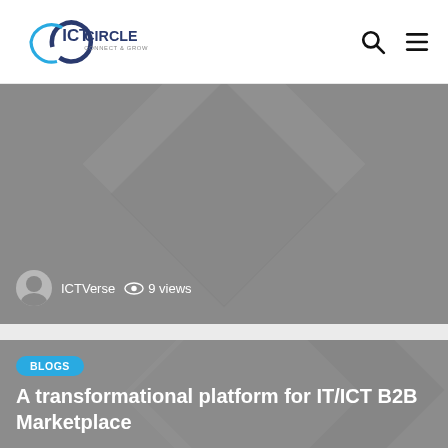ICT Circle - Connect & Grow
[Figure (screenshot): Blog card with gray background and diamond pattern showing ICTVerse author and 9 views]
[Figure (screenshot): Blog card with gray background, BLOGS badge, title 'A transformational platform for IT/ICT B2B Marketplace', ICTVerse author and 7 views]